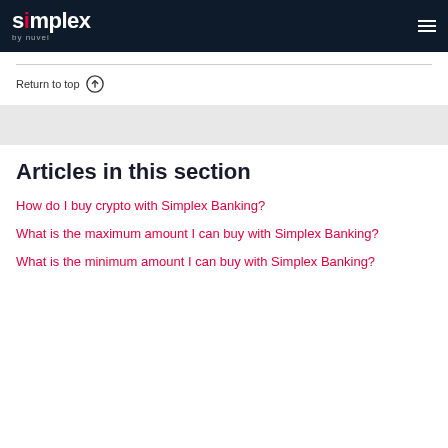simplex by nuvei
Return to top
Articles in this section
How do I buy crypto with Simplex Banking?
What is the maximum amount I can buy with Simplex Banking?
What is the minimum amount I can buy with Simplex Banking?